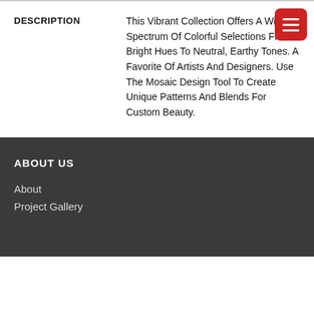| DESCRIPTION |  |
| --- | --- |
| DESCRIPTION | This Vibrant Collection Offers A Wide Spectrum Of Colorful Selections From Bright Hues To Neutral, Earthy Tones. A Favorite Of Artists And Designers. Use The Mosaic Design Tool To Create Unique Patterns And Blends For Custom Beauty. |
ABOUT US
About
Project Gallery